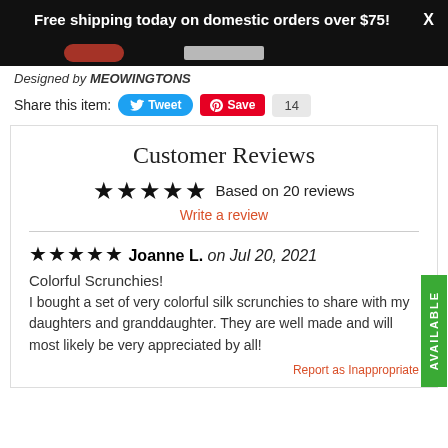Free shipping today on domestic orders over $75!
Designed by MEOWINGTONS
Share this item: Tweet Save 14
Customer Reviews
★★★★★ Based on 20 reviews
Write a review
★★★★★ Joanne L. on Jul 20, 2021
Colorful Scrunchies!
I bought a set of very colorful silk scrunchies to share with my daughters and granddaughter. They are well made and will most likely be very appreciated by all!
Report as Inappropriate